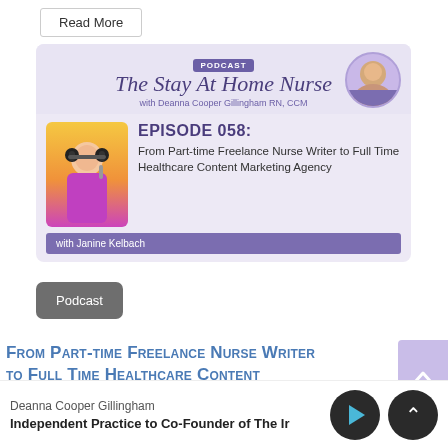Read More
[Figure (infographic): Podcast card for 'The Stay At Home Nurse' podcast with Deanna Cooper Gillingham RN, CCM. Episode 058: From Part-time Freelance Nurse Writer to Full Time Healthcare Content Marketing Agency, with Janine Kelbach. Features host photo, guest photo with headphones, purple color scheme.]
Podcast
From Part-time Freelance Nurse Writer to Full Time Healthcare Content
Deanna Cooper Gillingham
Independent Practice to Co-Founder of The Ir